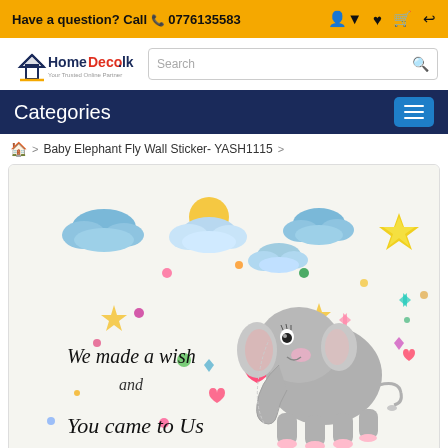Have a question? Call 0776135583
[Figure (logo): HomeDeco.lk logo with house icon]
Search
Categories
Baby Elephant Fly Wall Sticker- YASH1115
[Figure (photo): Baby elephant fly wall sticker product image showing a cute cartoon gray baby elephant with clouds, stars, sun, colorful dots and hearts, with cursive text reading 'We made a wish and You came to Us']